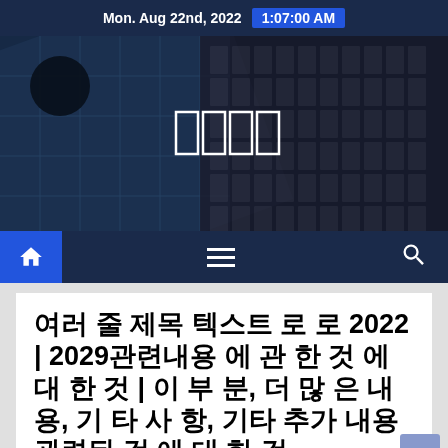Mon. Aug 22nd, 2022  1:07:00 AM
[Figure (photo): Dark hero image of city skyscrapers/buildings viewed from below, with overlaid logo boxes in center]
[Figure (other): Navigation bar with home icon (blue background), hamburger menu icon, and search icon on dark navy background]
여러 줄 제목 텍스트 로 로 2022 | 2029관련내용 에 관 한 것 에 대 한 것 | 이 부 분, 더 많 은 내 용, 기 타 사 항, 기타 추가 내용관련된 것 에 대 한 것